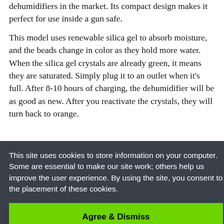dehumidifiers in the market. Its compact design makes it perfect for use inside a gun safe.
This model uses renewable silica gel to absorb moisture, and the beads change in color as they hold more water. When the silica gel crystals are already green, it means they are saturated. Simply plug it to an outlet when it's full. After 8-10 hours of charging, the dehumidifier will be as good as new. After you reactivate the crystals, they will turn back to orange.
e very up to mall
This site uses cookies to store information on your computer. Some are essential to make our site work; others help us improve the user experience. By using the site, you consent to the placement of these cookies.
Agree & Dismiss
Pros: